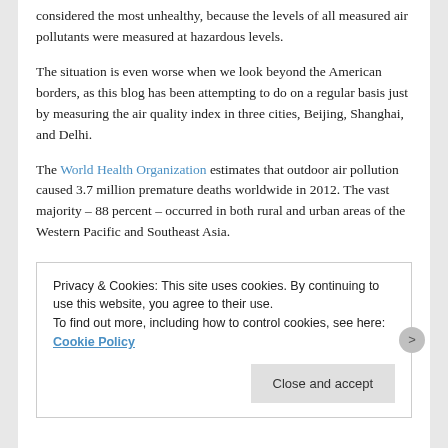considered the most unhealthy, because the levels of all measured air pollutants were measured at hazardous levels.
The situation is even worse when we look beyond the American borders, as this blog has been attempting to do on a regular basis just by measuring the air quality index in three cities, Beijing, Shanghai, and Delhi.
The World Health Organization estimates that outdoor air pollution caused 3.7 million premature deaths worldwide in 2012. The vast majority – 88 percent – occurred in both rural and urban areas of the Western Pacific and Southeast Asia.
Privacy & Cookies: This site uses cookies. By continuing to use this website, you agree to their use.
To find out more, including how to control cookies, see here: Cookie Policy